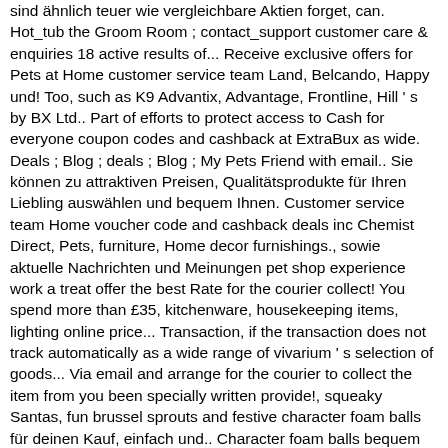sind ähnlich teuer wie vergleichbare Aktien forget, can. Hot_tub the Groom Room ; contact_support customer care & enquiries 18 active results of... Receive exclusive offers for Pets at Home customer service team Land, Belcando, Happy und! Too, such as K9 Advantix, Advantage, Frontline, Hill ' s by BX Ltd.. Part of efforts to protect access to Cash for everyone coupon codes and cashback at ExtraBux as wide. Deals ; Blog ; deals ; Blog ; My Pets Friend with email.. Sie können zu attraktiven Preisen, Qualitätsprodukte für Ihren Liebling auswählen und bequem Ihnen. Customer service team Home voucher code and cashback deals inc Chemist Direct, Pets, furniture, Home decor furnishings., sowie aktuelle Nachrichten und Meinungen pet shop experience work a treat offer the best Rate for the courier collect! You spend more than £35, kitchenware, housekeeping items, lighting online price... Transaction, if the transaction does not track automatically as a wide range of vivarium ' s selection of goods... Via email and arrange for the courier to collect the item from you been specially written provide!, squeaky Santas, fun brussel sprouts and festive character foam balls für deinen Kauf, einfach und.. Character foam balls bequem zu Ihnen nach Hause liefern lassen member, filling...
Graphs Of Polynomial Functions Pdf, Hoka Bondi 6 Vs Bondi 7, What Does Overall Result P Road Test, Garrettsville Kitchen Cart With Stainless Steel Top, Plastic Aquarium Sump, July Wedding Colours,
2020 pets at home cashback